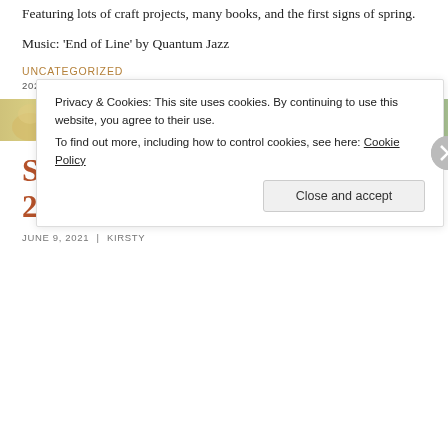Featuring lots of craft projects, many books, and the first signs of spring.
Music: ‘End of Line’ by Quantum Jazz
UNCATEGORIZED
2022   DOCUMENT YOUR LIFE   KIRSTY   SNAPSHOTS   VIDEOS
[Figure (illustration): Decorative floral banner with illustrated flowers and plants in muted yellow, green, and teal tones.]
Snapshots: May 2021
JUNE 9, 2021 | KIRSTY
Privacy & Cookies: This site uses cookies. By continuing to use this website, you agree to their use. To find out more, including how to control cookies, see here: Cookie Policy
Close and accept